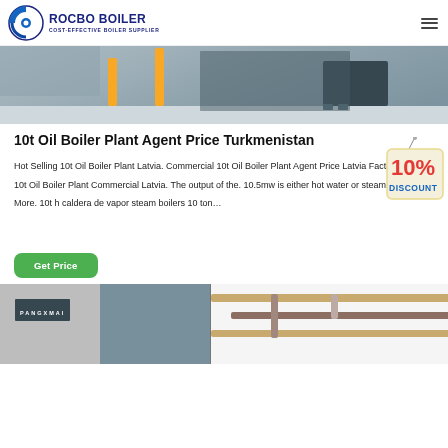ROCBO BOILER — COST-EFFECTIVE BOILER SUPPLIER
[Figure (photo): Industrial boiler plant interior with yellow support poles and machinery on a grey floor]
10t Oil Boiler Plant Agent Price Turkmenistan
[Figure (infographic): 10% DISCOUNT badge/tag hanging decoration]
Hot Selling 10t Oil Boiler Plant Latvia. Commercial 10t Oil Boiler Plant Agent Price Latvia Factory Price 10t Oil Boiler Plant Commercial Latvia. The output of the. 10.5mw is either hot water or steam. Read More. 10t h caldera de vapor steam boilers 10 ton…
[Figure (photo): Industrial boiler equipment with Pangxmai branding and copper pipes visible]